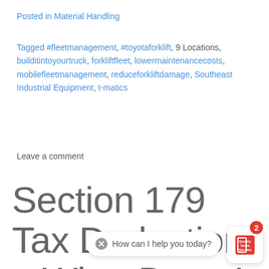Posted in Material Handling
Tagged #fleetmanagement, #toyotaforklift, 9 Locations, builditintoyourtruck, forkliftfleet, lowermaintenancecosts, mobilefleetmanagement, reduceforkliftdamage, Southeast Industrial Equipment, t-matics
Leave a comment
Section 179 Tax Deduction – What Does It Mean For Your B…